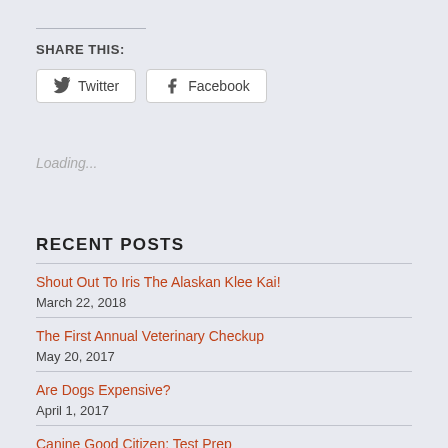SHARE THIS:
Twitter  Facebook
Loading...
RECENT POSTS
Shout Out To Iris The Alaskan Klee Kai!
March 22, 2018
The First Annual Veterinary Checkup
May 20, 2017
Are Dogs Expensive?
April 1, 2017
Canine Good Citizen: Test Prep
March 18, 2017